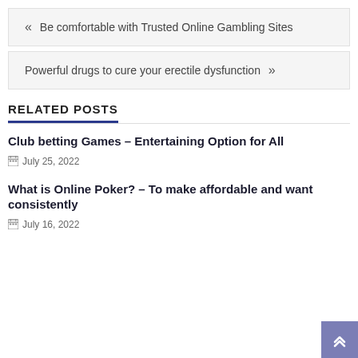« Be comfortable with Trusted Online Gambling Sites
Powerful drugs to cure your erectile dysfunction »
RELATED POSTS
Club betting Games – Entertaining Option for All
July 25, 2022
What is Online Poker? – To make affordable and want consistently
July 16, 2022